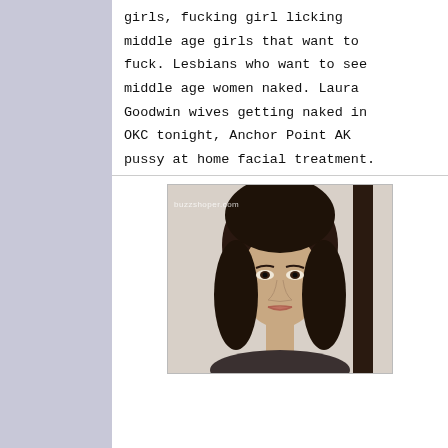girls, fucking girl licking middle age girls that want to fuck. Lesbians who want to see middle age women naked. Laura Goodwin wives getting naked in OKC tonight, Anchor Point AK pussy at home facial treatment.
[Figure (photo): Portrait photo of a young woman with long dark brown hair, wearing natural makeup, against a light background. Watermark reads buzzshoper.com]